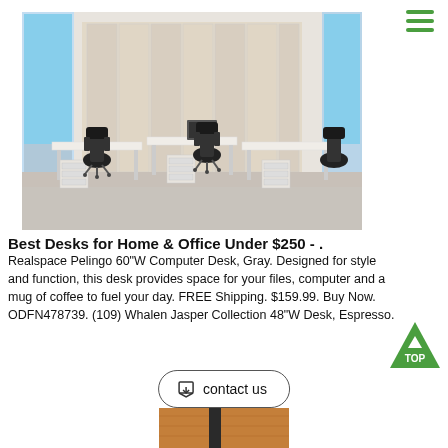[Figure (photo): Open-plan office environment with multiple white desks, pedestal drawers, and black ergonomic chairs arranged in rows. Large white cabinet panels in background, tall windows with blue sky visible on the left.]
Best Desks for Home & Office Under $250 - .
Realspace Pelingo 60"W Computer Desk, Gray. Designed for style and function, this desk provides space for your files, computer and a mug of coffee to fuel your day. FREE Shipping. $159.99. Buy Now. ODFN478739. (109) Whalen Jasper Collection 48"W Desk, Espresso.
[Figure (logo): Green triangle 'TOP' button with white text and upward arrow]
contact us
[Figure (photo): Partial view of a wooden desk or furniture piece in orange/brown wood tone with dark elements, cropped at bottom of page]